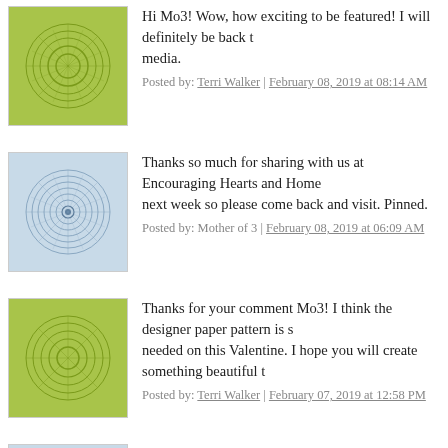Hi Mo3! Wow, how exciting to be featured! I will definitely be back to share on social media.
Posted by: Terri Walker | February 08, 2019 at 08:14 AM
Thanks so much for sharing with us at Encouraging Hearts and Home. You will be featured next week so please come back and visit. Pinned.
Posted by: Mother of 3 | February 08, 2019 at 06:09 AM
Thanks for your comment Mo3! I think the designer paper pattern is something that was needed on this Valentine. I hope you will create something beautiful too.
Posted by: Terri Walker | February 07, 2019 at 12:58 PM
I love making handmade Valentine's cards; this one is beautiful! pinned
Posted by: Mother of 3 | February 06, 2019 at 04:11 PM
The comments to this entry are closed.
Nutz about Stamping | Powered by TypePad